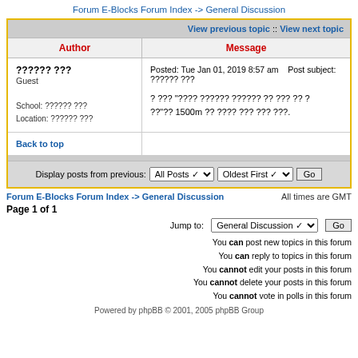Forum E-Blocks Forum Index -> General Discussion
| Author | Message |
| --- | --- |
| ?????? ???
Guest

School: ?????? ???
Location: ?????? ??? | Posted: Tue Jan 01, 2019 8:57 am    Post subject: ?????? ???

? ??? "???? ?????? ?????? ?? ??? ?? ? ??"?? 1500m ?? ???? ??? ??? ???. |
Display posts from previous: All Posts  Oldest First  Go
Forum E-Blocks Forum Index -> General Discussion    All times are GMT
Page 1 of 1
Jump to: General Discussion  Go
You can post new topics in this forum
You can reply to topics in this forum
You cannot edit your posts in this forum
You cannot delete your posts in this forum
You cannot vote in polls in this forum
Powered by phpBB © 2001, 2005 phpBB Group